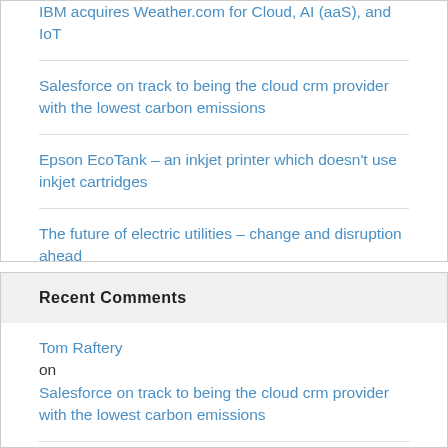IBM acquires Weather.com for Cloud, AI (aaS), and IoT
Salesforce on track to being the cloud crm provider with the lowest carbon emissions
Epson EcoTank – an inkjet printer which doesn't use inkjet cartridges
The future of electric utilities – change and disruption ahead
Flexible Power Alliance develops open source software and standard for smart grid demand management
Recent Comments
Tom Raftery on Salesforce on track to being the cloud crm provider with the lowest carbon emissions
Chris Adams on Salesforce on track to being the cloud crm provider with the lowest carbon emissions